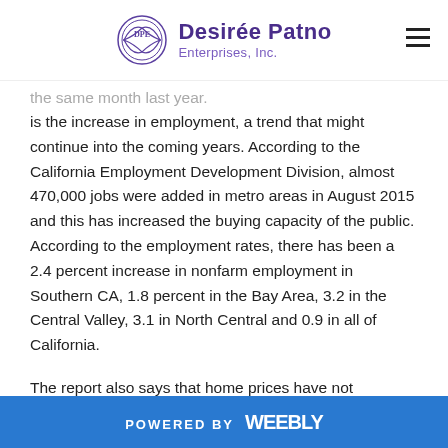Desirée Patno Enterprises, Inc.
is the increase in employment, a trend that might continue into the coming years. According to the California Employment Development Division, almost 470,000 jobs were added in metro areas in August 2015 and this has increased the buying capacity of the public. According to the employment rates, there has been a 2.4 percent increase in nonfarm employment in Southern CA, 1.8 percent in the Bay Area, 3.2 in the Central Valley, 3.1 in North Central and 0.9 in all of California.
The report also says that home prices have not increased significantly in California since 2013. The improvement in jobs and incomes and the low mortgage rates are other major contributing factors to the higher home sales this
POWERED BY weebly